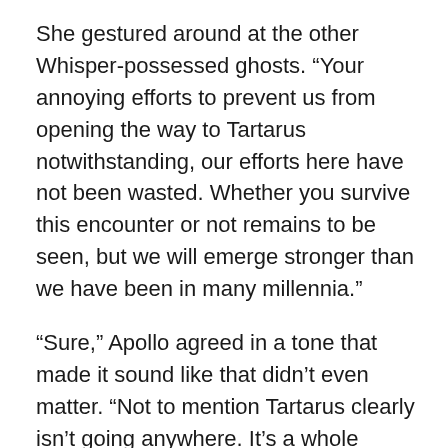She gestured around at the other Whisper-possessed ghosts. “Your annoying efforts to prevent us from opening the way to Tartarus notwithstanding, our efforts here have not been wasted. Whether you survive this encounter or not remains to be seen, but we will emerge stronger than we have been in many millennia.”
“Sure,” Apollo agreed in a tone that made it sound like that didn’t even matter. “Not to mention Tartarus clearly isn’t going anywhere. It’s a whole universe out there. Not like it’s just gonna disappear.”
“Of course not,” the Whisper retorted, her eyes narrowing at him. “Tartarus has existed since before the creation of this universe, and it will continue to exist long after every star which warms your worlds has burned itself out. It is infinite. And we have patience to match. Your efforts here